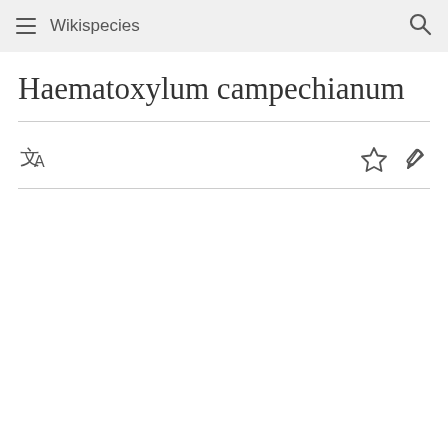Wikispecies
Haematoxylum campechianum